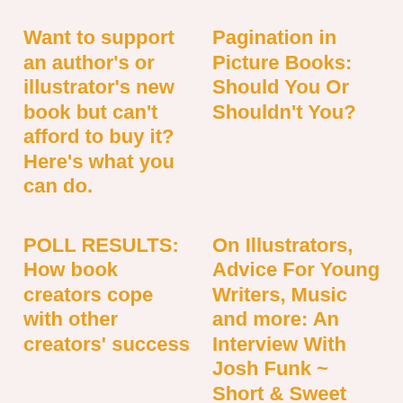Want to support an author's or illustrator's new book but can't afford to buy it? Here's what you can do.
Pagination in Picture Books: Should You Or Shouldn't You?
POLL RESULTS: How book creators cope with other creators' success
On Illustrators, Advice For Young Writers, Music and more: An Interview With Josh Funk ~ Short & Sweet (Lady Pancake & Sir French Toast #4) Book Tour